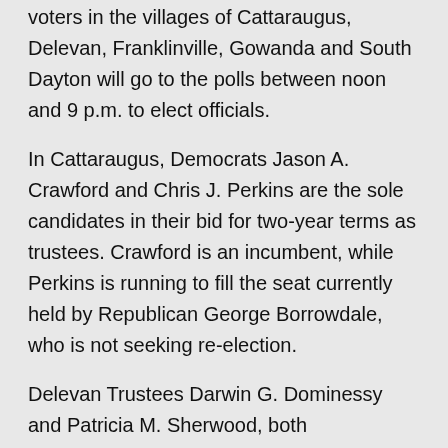voters in the villages of Cattaraugus, Delevan, Franklinville, Gowanda and South Dayton will go to the polls between noon and 9 p.m. to elect officials.
In Cattaraugus, Democrats Jason A. Crawford and Chris J. Perkins are the sole candidates in their bid for two-year terms as trustees. Crawford is an incumbent, while Perkins is running to fill the seat currently held by Republican George Borrowdale, who is not seeking re-election.
Delevan Trustees Darwin G. Dominessy and Patricia M. Sherwood, both incumbents, are seeking another four-year term. Brandon K. Stearns, appointed in April 2021 to fill a trustee vacancy, is vying to fill the remaining two years of the term. All three candidates are running unopposed on the Citizens Party slate.